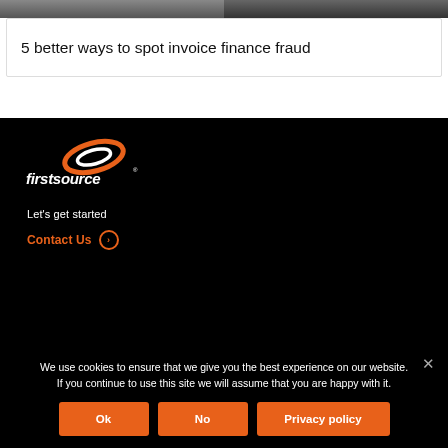[Figure (photo): Two side-by-side photo thumbnails in grayscale at the top of the page]
5 better ways to spot invoice finance fraud
[Figure (logo): Firstsource logo: orange swoosh/oval graphic with white text 'firstsource' and registered trademark symbol on black background]
Let's get started
Contact Us →
We use cookies to ensure that we give you the best experience on our website. If you continue to use this site we will assume that you are happy with it.
Ok  No  Privacy policy